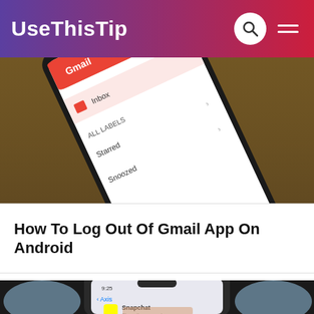UseThisTip
[Figure (photo): A smartphone displaying the Gmail app with sidebar menu open showing Inbox, All Labels, Starred, Snoozed options, placed on a wooden surface.]
How To Log Out Of Gmail App On Android
[Figure (photo): A hand holding a smartphone showing the Snapchat app icon and install page in an app store, with a blue and white patterned plate in the background.]